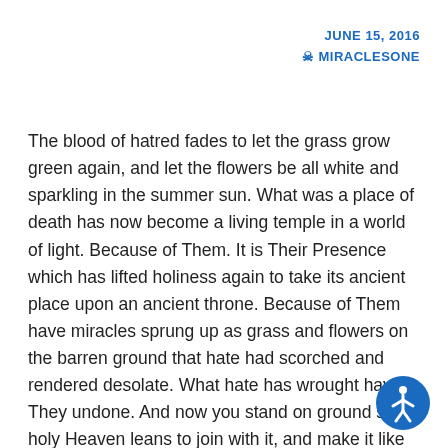JUNE 15, 2016
✶ MIRACLESONE
The blood of hatred fades to let the grass grow green again, and let the flowers be all white and sparkling in the summer sun. What was a place of death has now become a living temple in a world of light. Because of Them. It is Their Presence which has lifted holiness again to take its ancient place upon an ancient throne. Because of Them have miracles sprung up as grass and flowers on the barren ground that hate had scorched and rendered desolate. What hate has wrought have They undone. And now you stand on ground so holy Heaven leans to join with it, and make it like itself. The shadow of an ancient hate has gone, and all the blight and withering have passed forever from the land where They have come.